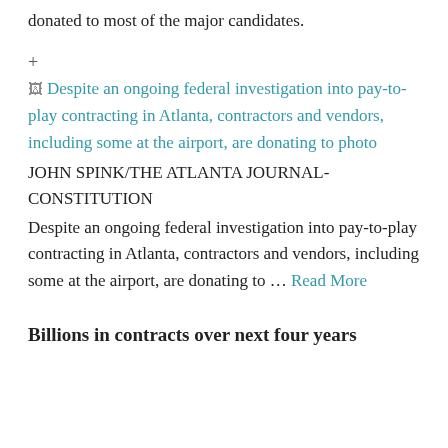donated to most of the major candidates.
[Figure (photo): Broken image placeholder with alt text: Despite an ongoing federal investigation into pay-to-play contracting in Atlanta, contractors and vendors, including some at the airport, are donating to photo]
JOHN SPINK/THE ATLANTA JOURNAL-CONSTITUTION
Despite an ongoing federal investigation into pay-to-play contracting in Atlanta, contractors and vendors, including some at the airport, are donating to … Read More
Billions in contracts over next four years